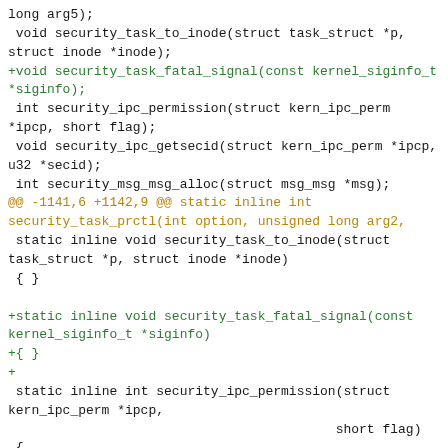Code diff showing security task and IPC permission function declarations and static inline implementations, followed by a git diff header for kernel/signal.c